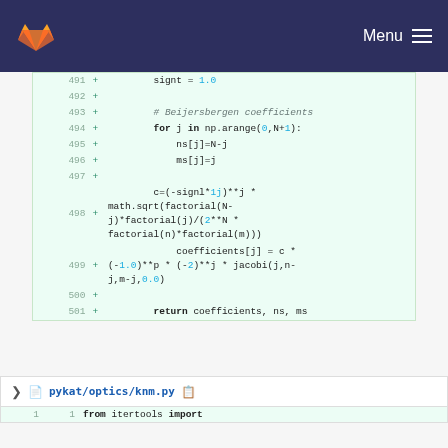Menu
[Figure (screenshot): GitLab code diff view showing Python code lines 491-501 with green background diff additions. Lines include: signt = 1.0, Beijersbergen coefficients comment, for loop, ns[j]=N-j, ms[j]=j, c=(-signl*1j)**j * math.sqrt(factorial(N-j)*factorial(j)/(2**N * factorial(n)*factorial(m))), coefficients[j] = c * (-1.0)**p * (-2)**j * jacobi(j,n-j,m-j,0.0), return coefficients, ns, ms]
pykat/optics/knm.py
from itertools import